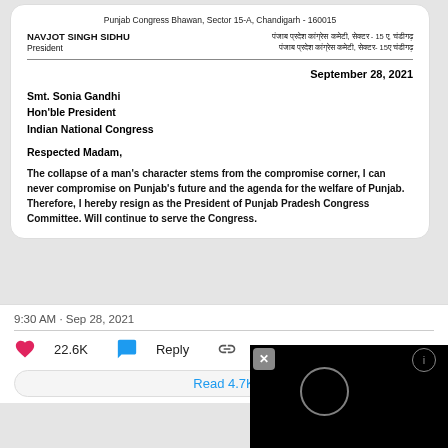Punjab Congress Bhawan, Sector 15-A, Chandigarh - 160015
NAVJOT SINGH SIDHU
President
September 28, 2021
Smt. Sonia Gandhi
Hon'ble President
Indian National Congress
Respected Madam,
The collapse of a man's character stems from the compromise corner, I can never compromise on Punjab's future and the agenda for the welfare of Punjab.
Therefore, I hereby resign as the President of Punjab Pradesh Congress Committee. Will continue to serve the Congress.
9:30 AM · Sep 28, 2021
22.6K  Reply
Read 4.7K